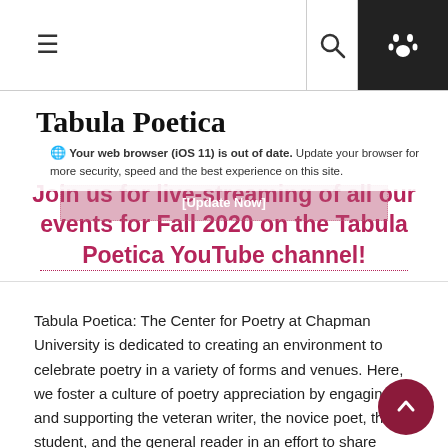≡  🔍  🐾
Tabula Poetica
Your web browser (iOS 11) is out of date. Update your browser for more security, speed and the best experience on this site.
Join us for live-streaming of all our events for Fall 2020 on the Tabula Poetica YouTube channel!
Tabula Poetica: The Center for Poetry at Chapman University is dedicated to creating an environment to celebrate poetry in a variety of forms and venues. Here, we foster a culture of poetry appreciation by engaging and supporting the veteran writer, the novice poet, the student, and the general reader in an effort to share poems and conversation about this art form.